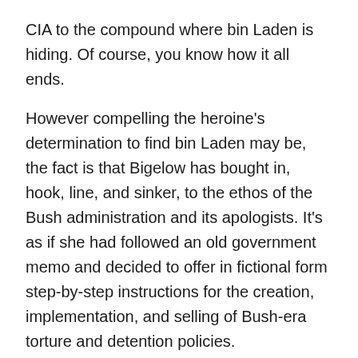CIA to the compound where bin Laden is hiding. Of course, you know how it all ends.
However compelling the heroine's determination to find bin Laden may be, the fact is that Bigelow has bought in, hook, line, and sinker, to the ethos of the Bush administration and its apologists. It's as if she had followed an old government memo and decided to offer in fictional form step-by-step instructions for the creation, implementation, and selling of Bush-era torture and detention policies.
Here, then, are the seven steps that bring back the Bush administration and should help Americans learn how to love torture, Bigelow-style.
First, Rouse Fear. From its opening scene, Zero Dark